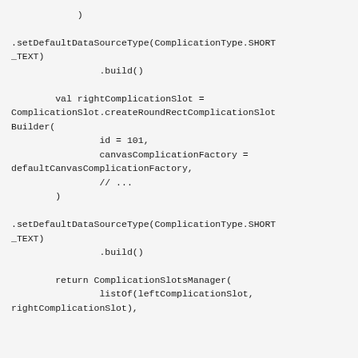)

.setDefaultDataSourceType(ComplicationType.SHORT
_TEXT)
                .build()

        val rightComplicationSlot =
ComplicationSlot.createRoundRectComplicationSlot
Builder(
                id = 101,
                canvasComplicationFactory =
defaultCanvasComplicationFactory,
                // ...
        )

.setDefaultDataSourceType(ComplicationType.SHORT
_TEXT)
                .build()

        return ComplicationSlotsManager(
                listOf(leftComplicationSlot,
rightComplicationSlot),